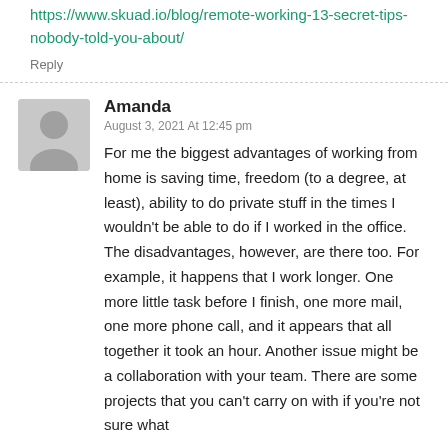https://www.skuad.io/blog/remote-working-13-secret-tips-nobody-told-you-about/
Reply
Amanda
August 3, 2021 At 12:45 pm
For me the biggest advantages of working from home is saving time, freedom (to a degree, at least), ability to do private stuff in the times I wouldn't be able to do if I worked in the office. The disadvantages, however, are there too. For example, it happens that I work longer. One more little task before I finish, one more mail, one more phone call, and it appears that all together it took an hour. Another issue might be a collaboration with your team. There are some projects that you can't carry on with if you're not sure what